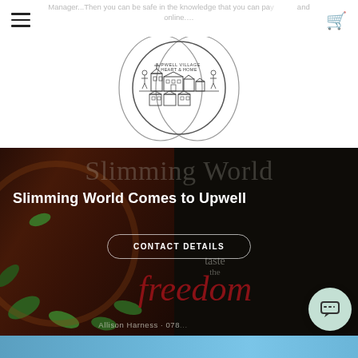Manager...Then you can be safe in the knowledge that you can pay and online.
[Figure (logo): Upwell Village community logo — circular line drawing of village buildings, church, people]
Slimming World Comes to Upwell
CONTACT DETAILS
taste the freedom
Allison Harness · 078...
[Figure (photo): Hero background: dark pizza with basil leaves and Slimming World branded overlay text 'taste the freedom']